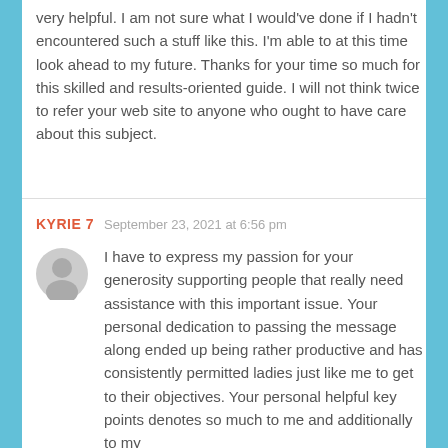very helpful. I am not sure what I would've done if I hadn't encountered such a stuff like this. I'm able to at this time look ahead to my future. Thanks for your time so much for this skilled and results-oriented guide. I will not think twice to refer your web site to anyone who ought to have care about this subject.
KYRIE 7   September 23, 2021 at 6:56 pm
I have to express my passion for your generosity supporting people that really need assistance with this important issue. Your personal dedication to passing the message along ended up being rather productive and has consistently permitted ladies just like me to get to their objectives. Your personal helpful key points denotes so much to me and additionally to my